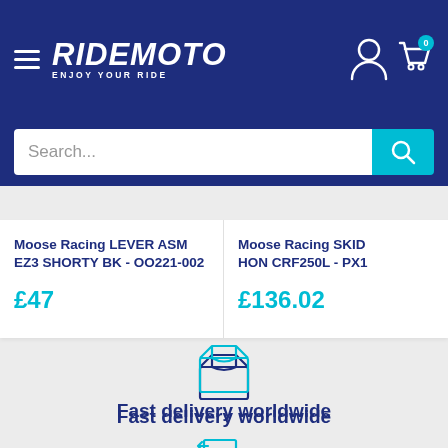[Figure (screenshot): Ridemoto website header with dark blue background, hamburger menu icon, Ridemoto logo (ENJOY YOUR RIDE tagline), user account icon, and shopping cart icon with badge showing 0]
[Figure (screenshot): Search bar with white input field showing 'Search...' placeholder and teal search button with magnifying glass icon]
Moose Racing LEVER ASM EZ3 SHORTY BK - OO221-002
£47
Moose Racing SKIDPLATE HON CRF250L - PX1...
£136.02
[Figure (illustration): Teal outline box/package icon for Fast delivery worldwide]
Fast delivery worldwide
[Figure (illustration): Teal outline return/cart icon for Free Returns]
Free Returns